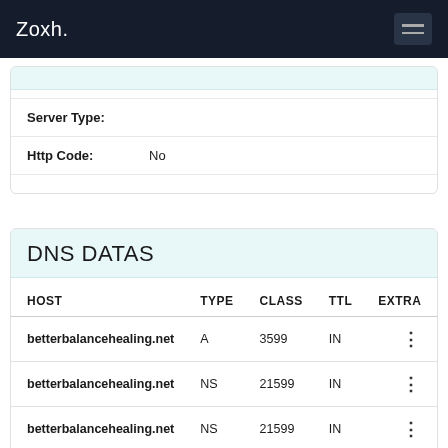Zoxh.
Server Type:
Http Code: No
DNS DATAS
| HOST | TYPE | CLASS | TTL | EXTRA |
| --- | --- | --- | --- | --- |
| betterbalancehealing.net | A | 3599 | IN | : |
| betterbalancehealing.net | NS | 21599 | IN | : |
| betterbalancehealing.net | NS | 21599 | IN | : |
| betterbalancehealing.net | SOA | 3599 | IN | : |